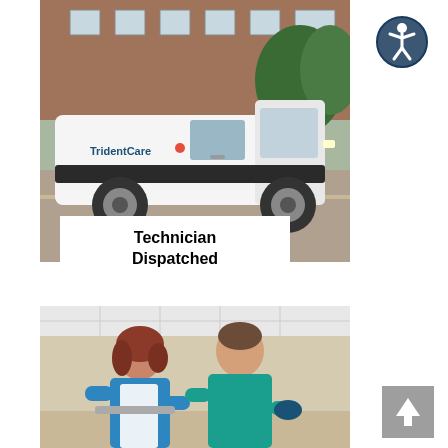[Figure (photo): A white TridentCare van parked in front of a brick building with trees in the background.]
Technician Dispatched
[Figure (photo): Two medical professionals in blue scrubs attending to a patient.]
[Figure (illustration): Accessibility icon - circular blue icon with a person figure.]
[Figure (illustration): Back to top button - grey square with upward arrow.]